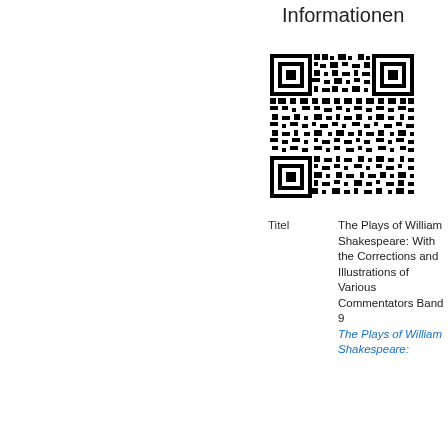Informationen
[Figure (other): QR code linking to information about The Plays of William Shakespeare]
| Titel | The Plays of William Shakespeare: With the Corrections and Illustrations of Various Commentators Band 9 |
|  | The Plays of William Shakespeare: |